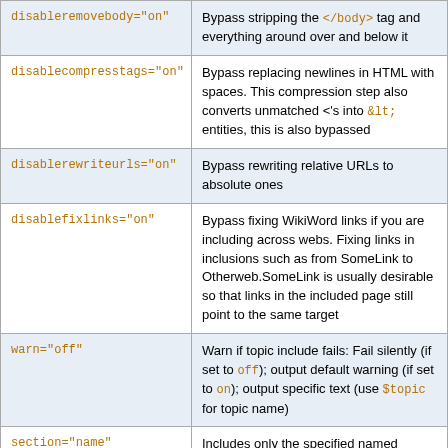| Parameter | Description |
| --- | --- |
| disableremovebody="on" | Bypass stripping the </body> ta... around over and below it |
| disablecompresstags="on" | Bypass replacing newlines in H... spaces. This compression step... unmatched <'s into &lt; entities bypassed |
| disablerewriteurls="on" | Bypass rewriting relative URLs ones |
| disablefixlinks="on" | Bypass fixing WikiWord links if... across webs. Fixing links in inc... as from SomeLink to Otherweb... usually desirable so that links i... still point to the same target |
| warn="off" | Warn if topic include fails: Fail s... output default warning (if set to... specific text (use $topic for top... |
| section="name" | Includes only the specified nam... defined in the included topic by... STARTSECTION and ENDSEC... Nothing is shown if the named... |